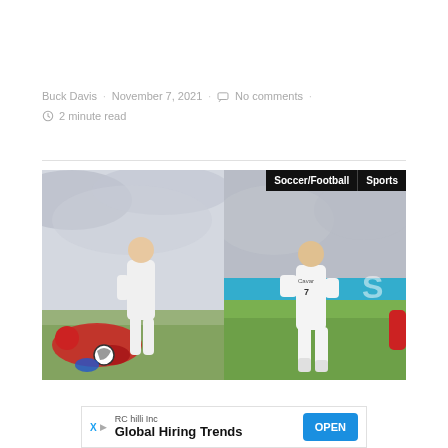Buck Davis · November 7, 2021 · No comments · 2 minute read
[Figure (photo): Two soccer/football photos side by side. Left: a Real Madrid player in white kit heading/playing over a fallen player in red. Right: a Real Madrid player in white kit running on the pitch. Category labels 'Soccer/Football' and 'Sports' shown on top right.]
RC hilli Inc  Global Hiring Trends  OPEN